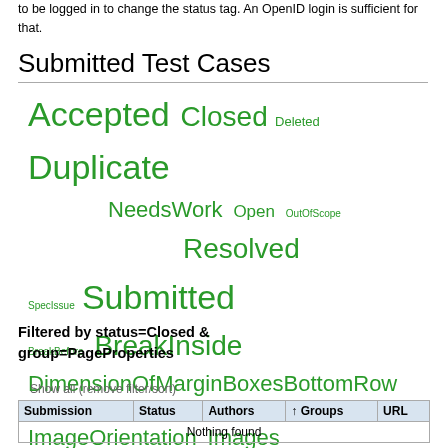to be logged in to change the status tag. An OpenID login is sufficient for that.
Submitted Test Cases
[Figure (other): Tag cloud showing test case status and group tags in varying green font sizes: Accepted, Closed, Deleted, Duplicate, NeedsWork, Open, OutOfScope, Resolved, SpecIssue, Submitted, BreakBefore, BreakInside, DimensionOfMarginBoxesBottomRow, DimensionOfMarginBoxesTopRow, ImageOrientation, Images, MarginBoxes, Orphans, PageBreaks, PageProperties, PageSize, Widows]
Filtered by status=Closed & group=PageProperties
Show all (remove filter/sort)
| Submission | Status | Authors | ↑ Groups | URL |
| --- | --- | --- | --- | --- |
| Nothing found |  |  |  |  |